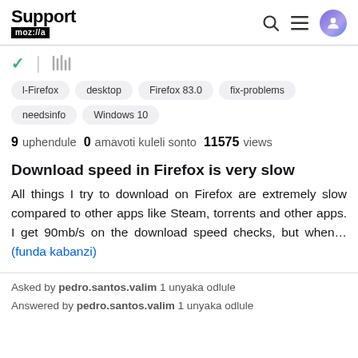Support mozilla
l-Firefox
desktop
Firefox 83.0
fix-problems
needsinfo
Windows 10
9 uphendule 0 amavoti kuleli sonto 11575 views
Download speed in Firefox is very slow
All things I try to download on Firefox are extremely slow compared to other apps like Steam, torrents and other apps. I get 90mb/s on the download speed checks, but when... (funda kabanzi)
Asked by pedro.santos.valim 1 unyaka odlule
Answered by pedro.santos.valim 1 unyaka odlule